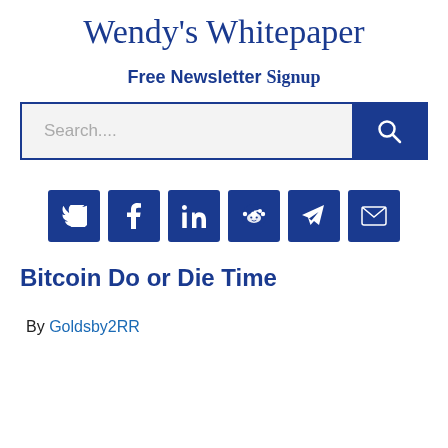Wendy's Whitepaper
Free Newsletter Signup
[Figure (screenshot): Search bar with text placeholder 'Search....' and a blue search button with magnifying glass icon]
[Figure (infographic): Row of 6 blue social share buttons: Twitter, Facebook, LinkedIn, Reddit, Telegram, Email]
Bitcoin Do or Die Time
By Goldsby2RR